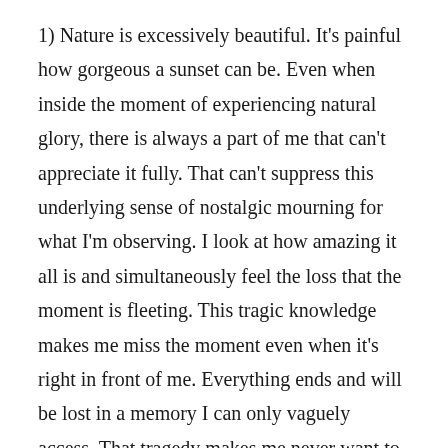1) Nature is excessively beautiful. It's painful how gorgeous a sunset can be. Even when inside the moment of experiencing natural glory, there is always a part of me that can't appreciate it fully. That can't suppress this underlying sense of nostalgic mourning for what I'm observing. I look at how amazing it all is and simultaneously feel the loss that the moment is fleeting. This tragic knowledge makes me miss the moment even when it's right in front of me. Everything ends and will be lost in a memory I can only vaguely access. That tragedy makes me never want to leave the beauty of nature and instead focus purely on how gorgeous it all is. Yet with nature, the beauty is endless. As day turns to night, which turn to day again, there is nothing but beauty to witness if your eyes are open enough to see it.